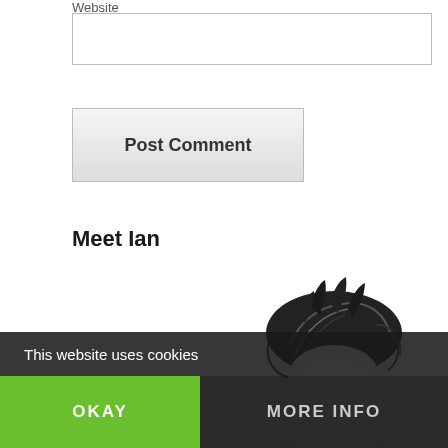Website
Post Comment
Meet Ian
[Figure (photo): Black and white portrait photo of a man's head showing styled dark hair, cropped at forehead level]
This website uses cookies
OKAY
MORE INFO